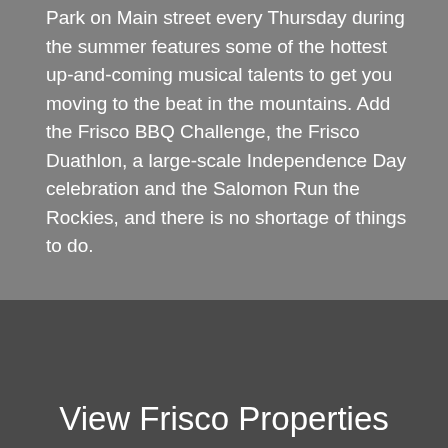Park on Main street every Thursday during the summer features some of the hottest up-and-coming musical talents to get you moving to the beat in the mountains. Add the Frisco BBQ Challenge, the Frisco Duathlon, a large-scale Independence Day celebration and the Salomon Run the Rockies, and there is no shortage of things to do.
View Frisco Properties